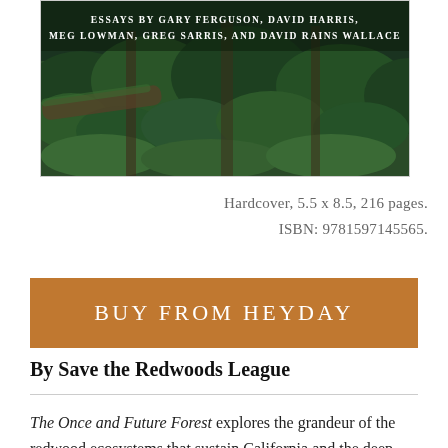[Figure (photo): Book cover photograph showing a lush green forest/fern ecosystem with text overlay: 'ESSAYS BY GARY FERGUSON, DAVID HARRIS, MEG LOWMAN, GREG SARRIS, AND DAVID RAINS WALLACE']
Hardcover, 5.5 x 8.5, 216 pages.
ISBN: 9781597145565.
BUY FROM HEYDAY
By Save the Redwoods League
The Once and Future Forest explores the grandeur of the redwood ecosystems that sustain California and the deep love they